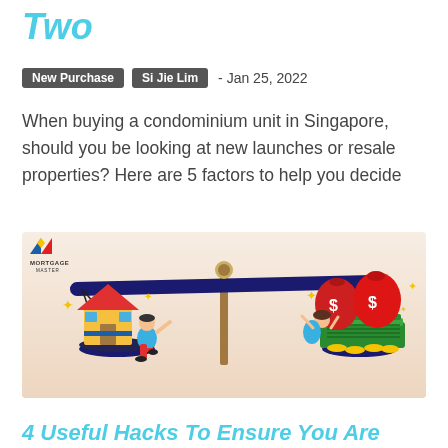Two
New Purchase   Si Jie Lim   - Jan 25, 2022
When buying a condominium unit in Singapore, should you be looking at new launches or resale properties? Here are 5 factors to help you decide
[Figure (illustration): A balance scale illustration with a house and person on the left pan and money bags with coins on the right pan, with a Mortgage Master logo in the top-left corner]
4 Useful Hacks To Ensure You Are